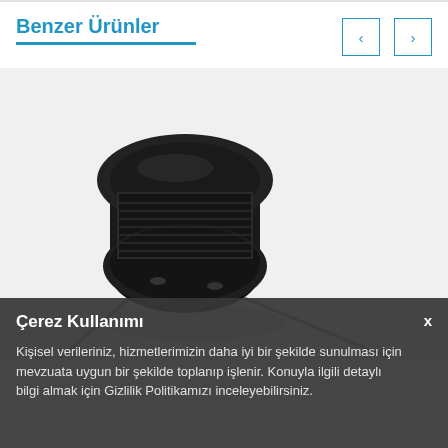Benzer Ürünler
[Figure (photo): Close-up photo of a black toroidal/drum-core inductor component with two silver wire leads extending diagonally, photographed on a white background.]
Çerez Kullanımı
Kişisel verileriniz, hizmetlerimizin daha iyi bir şekilde sunulması için mevzuata uygun bir şekilde toplanıp işlenir. Konuyla ilgili detaylı bilgi almak için Gizlilik Politikamızı inceleyebilirsiniz.